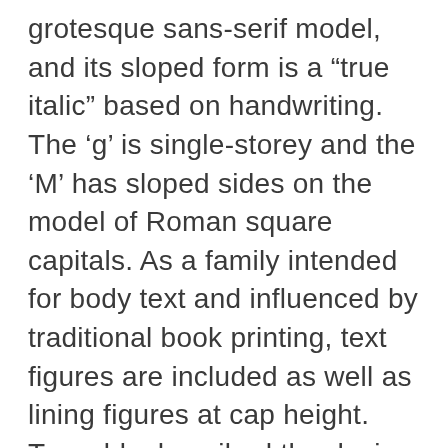grotesque sans-serif model, and its sloped form is a “true italic” based on handwriting. The ‘g’ is single-storey and the ‘M’ has sloped sides on the model of Roman square capitals. As a family intended for body text and influenced by traditional book printing, text figures are included as well as lining figures at cap height. Twombly described the design process as one of swapping ideas to create a “homogenous” design but said that in retrospect she found the experience “too hard” to want to repeat.